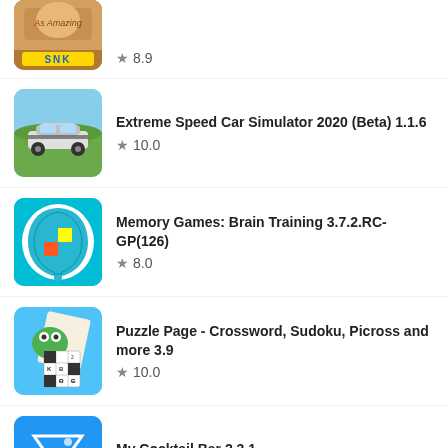SNK — Rating: 8.9
Extreme Speed Car Simulator 2020 (Beta) 1.1.6 — Rating: 10.0
Memory Games: Brain Training 3.7.2.RC-GP(126) — Rating: 8.0
Puzzle Page - Crossword, Sudoku, Picross and more 3.9 — Rating: 10.0
My Cocktail Bar 2.3.1 — Rating: 10.0